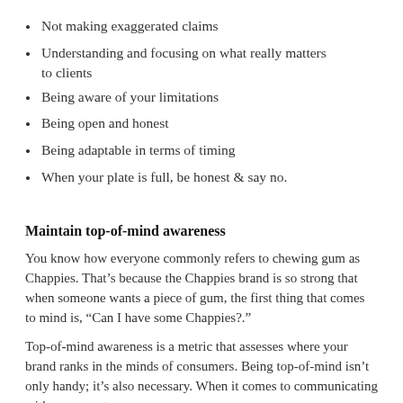Not making exaggerated claims
Understanding and focusing on what really matters to clients
Being aware of your limitations
Being open and honest
Being adaptable in terms of timing
When your plate is full, be honest & say no.
Maintain top-of-mind awareness
You know how everyone commonly refers to chewing gum as Chappies. That’s because the Chappies brand is so strong that when someone wants a piece of gum, the first thing that comes to mind is, “Can I have some Chappies?.”
Top-of-mind awareness is a metric that assesses where your brand ranks in the minds of consumers. Being top-of-mind isn’t only handy; it’s also necessary. When it comes to communicating with a prospect, you have functionally about a 50% better probability of